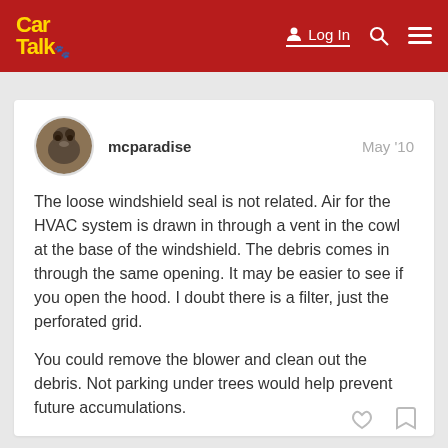Car Talk | Log In
mcparadise
May '10

The loose windshield seal is not related. Air for the HVAC system is drawn in through a vent in the cowl at the base of the windshield. The debris comes in through the same opening. It may be easier to see if you open the hood. I doubt there is a filter, just the perforated grid.

You could remove the blower and clean out the debris. Not parking under trees would help prevent future accumulations.